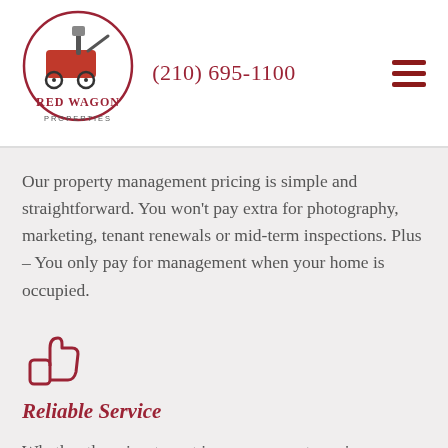[Figure (logo): Red Wagon Properties logo: red wagon with shovel inside a circular border, text RED WAGON PROPERTIES below]
(210) 695-1100
Our property management pricing is simple and straightforward. You won't pay extra for photography, marketing, tenant renewals or mid-term inspections. Plus – You only pay for management when your home is occupied.
[Figure (illustration): Red thumbs-up icon]
Reliable Service
Whether there is a tenant issue, an urgent repair or you want advice on property improvements - we are here to